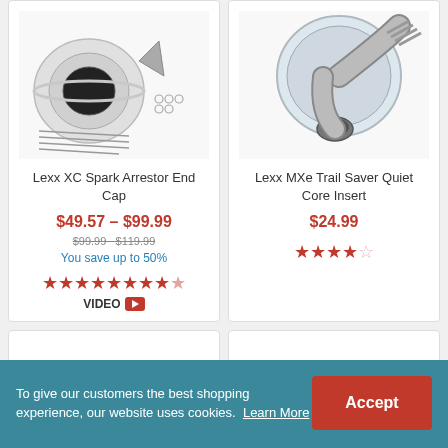[Figure (photo): Lexx XC Spark Arrestor End Cap product image - chrome/metal parts kit with screws]
[Figure (photo): Lexx MXe Trail Saver Quiet Core Insert product image - curved exhaust pipe insert with flange]
Lexx XC Spark Arrestor End Cap
$49.57 – $99.99
$99.99   $119.99
You save up to 50%
[Figure (other): 4.5 star rating and VIDEO badge with YouTube icon]
Lexx MXe Trail Saver Quiet Core Insert
$24.99
[Figure (other): 4.5 star rating (4 filled, 1 empty)]
To give our customers the best shopping experience, our website uses cookies. Learn More
Accept